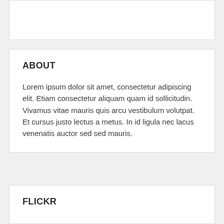ABOUT
Lorem ipsum dolor sit amet, consectetur adipiscing elit. Etiam consectetur aliquam quam id sollicitudin. Vivamus vitae mauris quis arcu vestibulum volutpat. Et cursus justo lectus a metus. In id ligula nec lacus venenatis auctor sed sed mauris.
FLICKR